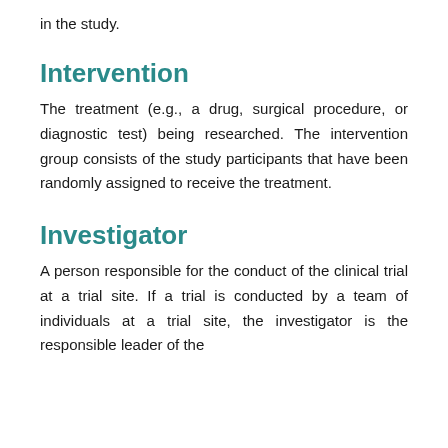in the study.
Intervention
The treatment (e.g., a drug, surgical procedure, or diagnostic test) being researched. The intervention group consists of the study participants that have been randomly assigned to receive the treatment.
Investigator
A person responsible for the conduct of the clinical trial at a trial site. If a trial is conducted by a team of individuals at a trial site, the investigator is the responsible leader of the